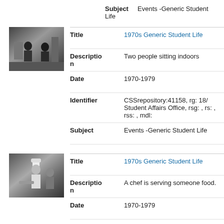Subject    Events -Generic Student Life
[Figure (photo): Black and white photo of two people sitting indoors]
| Field | Value |
| --- | --- |
| Title | 1970s Generic Student Life |
| Description | Two people sitting indoors |
| Date | 1970-1979 |
| Identifier | CSSrepository:41158, rg: 18/ Student Affairs Office, rsg: , rs: , rss: , mdl: |
| Subject | Events -Generic Student Life |
[Figure (photo): Black and white photo of a chef serving someone food]
| Field | Value |
| --- | --- |
| Title | 1970s Generic Student Life |
| Description | A chef is serving someone food. |
| Date | 1970-1979 |